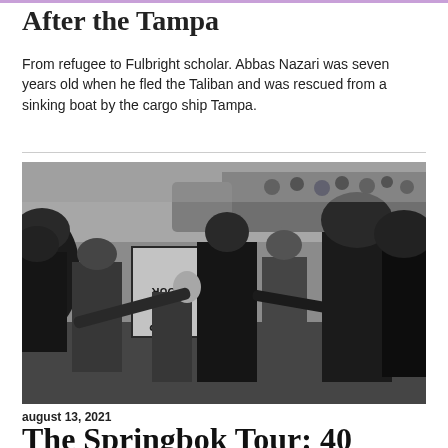After the Tampa
From refugee to Fulbright scholar. Abbas Nazari was seven years old when he fled the Taliban and was rescued from a sinking boat by the cargo ship Tampa.
[Figure (photo): Black and white photograph of a protest scene. Police officers in helmets confront protesters. One protester holds a sign reading 'STOP THE TOUR' (upside down). Large crowds visible in background.]
august 13, 2021
The Springbok Tour: 40 Years